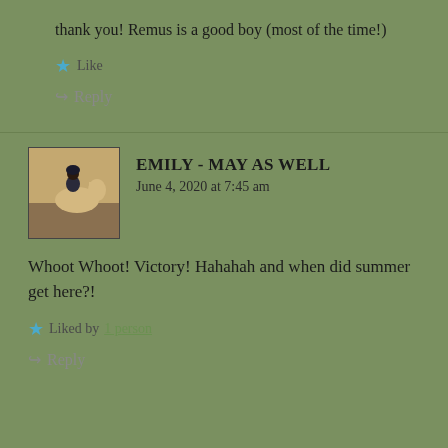thank you! Remus is a good boy (most of the time!)
Like
Reply
EMILY - MAY AS WELL
June 4, 2020 at 7:45 am
Whoot Whoot! Victory! Hahahah and when did summer get here?!
Liked by 1 person
Reply